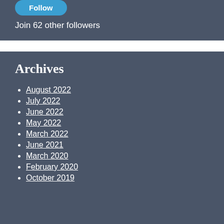Join 62 other followers
Archives
August 2022
July 2022
June 2022
May 2022
March 2022
June 2021
March 2020
February 2020
October 2019